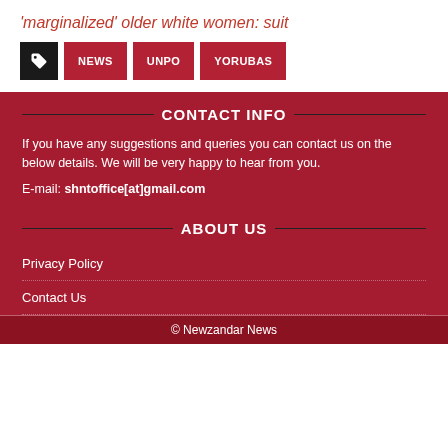'marginalized' older white women: suit
NEWS
UNPO
YORUBAS
CONTACT INFO
If you have any suggestions and queries you can contact us on the below details. We will be very happy to hear from you.
E-mail: shntoffice[at]gmail.com
ABOUT US
Privacy Policy
Contact Us
© Newzandar News